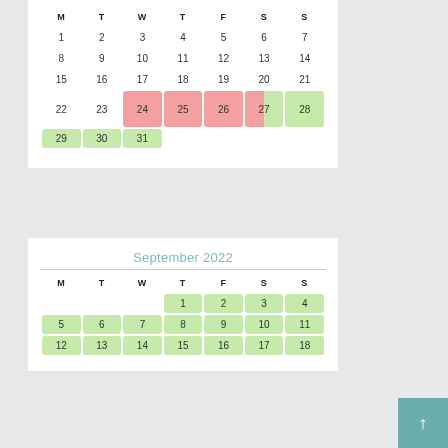| M | T | W | T | F | S | S |
| --- | --- | --- | --- | --- | --- | --- |
| 1 | 2 | 3 | 4 | 5 | 6 | 7 |
| 8 | 9 | 10 | 11 | 12 | 13 | 14 |
| 15 | 16 | 17 | 18 | 19 | 20 | 21 |
| 22 | 23 | 24(pink) | 25(pink) | 26(pink) | 27(split) | 28(green) |
| 29(green) | 30(green) | 31(green) |  |  |  |  |
September 2022
| M | T | W | T | F | S | S |
| --- | --- | --- | --- | --- | --- | --- |
|  |  |  | 1(green) | 2(green) | 3(green) | 4(green) |
| 5(green) | 6(green) | 7(green) | 8(green) | 9(green) | 10(green) | 11(green) |
| 12(green) | 13(green) | 14(green) | 15(green) | 16(green) | 17(green) | 18(green) |